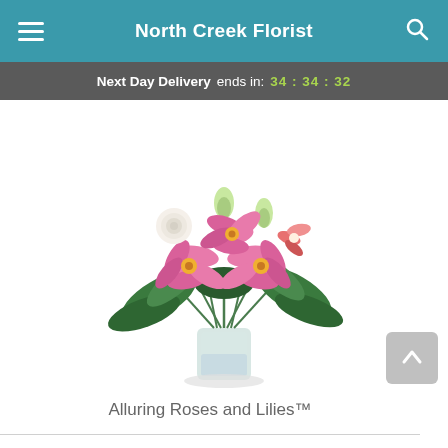North Creek Florist
Next Day Delivery ends in: 34 : 34 : 32
[Figure (photo): A floral bouquet arrangement of pink stargazer lilies, white roses, and green foliage in a clear glass vase.]
Alluring Roses and Lilies™
Pick your perfect gift: